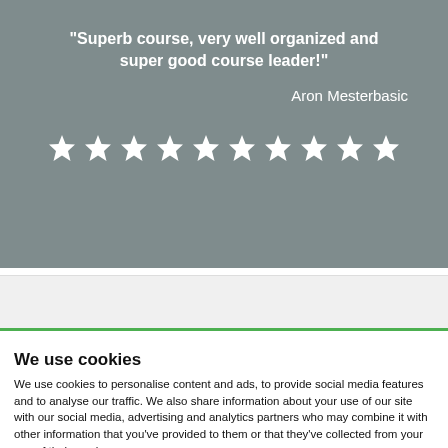"Superb course, very well organized and super good course leader!"
Aron Mesterbasic
[Figure (other): Ten white star rating icons arranged in a row on a grey background]
We use cookies
We use cookies to personalise content and ads, to provide social media features and to analyse our traffic. We also share information about your use of our site with our social media, advertising and analytics partners who may combine it with other information that you've provided to them or that they've collected from your use of their services.
Allow selection
Allow all